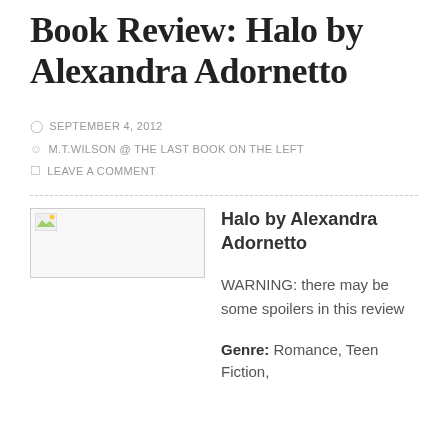Book Review: Halo by Alexandra Adornetto
SEPTEMBER 4, 2012
M.T.WILSON @ THE LAST BOOK ON THE LEFT
LEAVE A COMMENT
[Figure (photo): Placeholder image with broken image icon for book cover of Halo by Alexandra Adornetto]
Halo by Alexandra Adornetto
WARNING: there may be some spoilers in this review
Genre: Romance, Teen Fiction,